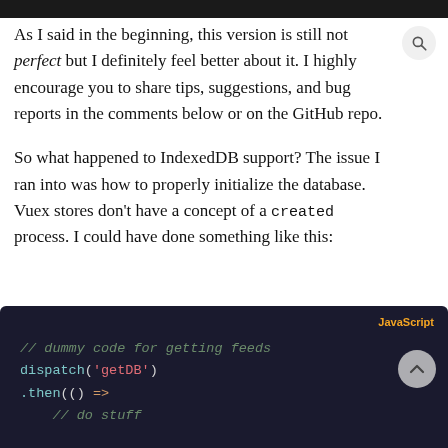As I said in the beginning, this version is still not perfect but I definitely feel better about it. I highly encourage you to share tips, suggestions, and bug reports in the comments below or on the GitHub repo.
So what happened to IndexedDB support? The issue I ran into was how to properly initialize the database. Vuex stores don't have a concept of a created process. I could have done something like this:
[Figure (screenshot): Dark-themed JavaScript code block showing: '// dummy code for getting feeds', 'dispatch(\'getDB\')', '.then(() =>', '// do stuff']